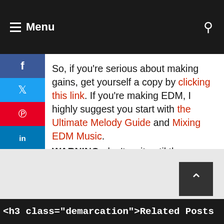≡ Menu
So, if you're serious about making gains, get yourself a copy by clicking this link. If you're making EDM, I highly suggest you start with the Ultimate Melody Guide and Mixing EDM Music.
WARNING: don't wait until these guides are offline. If you want in, you have to act now and get started.
[Figure (infographic): Social share buttons (Facebook, Twitter, Pinterest, LinkedIn) displayed as a horizontal bar]
<h3 class="demarcation">Related Posts